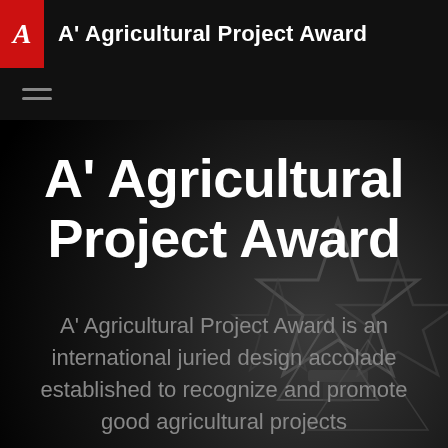A' Agricultural Project Award
[Figure (screenshot): Dark background with metallic star trophy shapes visible in the lower right area, creating a dramatic black and grey photographic backdrop]
A' Agricultural Project Award
A' Agricultural Project Award is an international juried design accolade established to recognize and promote good agricultural projects